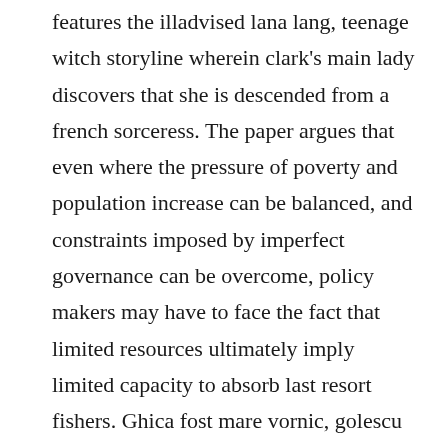features the illadvised lana lang, teenage witch storyline wherein clark's main lady discovers that she is descended from a french sorceress. The paper argues that even where the pressure of poverty and population increase can be balanced, and constraints imposed by imperfect governance can be overcome, policy makers may have to face the fact that limited resources ultimately imply limited capacity to absorb last resort fishers. Ghica fost mare vornic, golescu mare vornic al obstirilor si lui filipescu mare logof at de tara de sus, poruncindu-le sa se 1ntruneasa. The russian bartender will challenge you to a rooftop race. The most accurate way to determine population size is to count all of the individuals within the area. Schedule: expect disruption every day between and